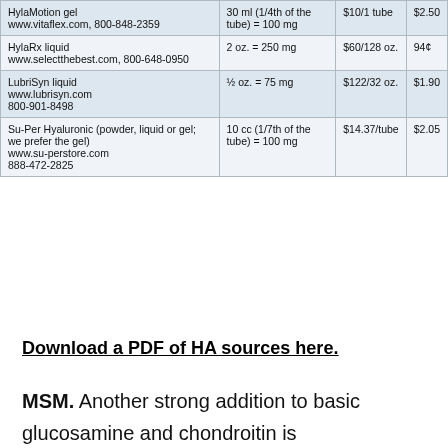| Product | Dose | Price | Per dose |
| --- | --- | --- | --- |
| HylaMotion gel
www.vitaflex.com, 800-848-2359 | 30 ml (1/4th of the tube) = 100 mg | $10/1 tube | $2.50 |
| HylaRx liquid
www.selectthebest.com, 800-648-0950 | 2 oz. = 250 mg | $60/128 oz. | 94¢ |
| LubriSyn liquid
www.lubrisyn.com
800-901-8498 | ½ oz. = 75 mg | $122/32 oz. | $1.90 |
| Su-Per Hyaluronic (powder, liquid or gel; we prefer the gel)
www.su-perstore.com
888-472-2825 | 10 cc (1/7th of the tube) = 100 mg | $14.37/tube | $2.05 |
Download a PDF of HA sources here.
MSM. Another strong addition to basic glucosamine and chondroitin is methylsufonylmethane, aka MSM. This sulfur-based molecule is in the same family as DMSO and garlic, although it doesn't bear the harsh smell. It's known for binding free-radicals (harmful chemicals released from inflamed tissue) and having an anti-inflammatory effect in the body.